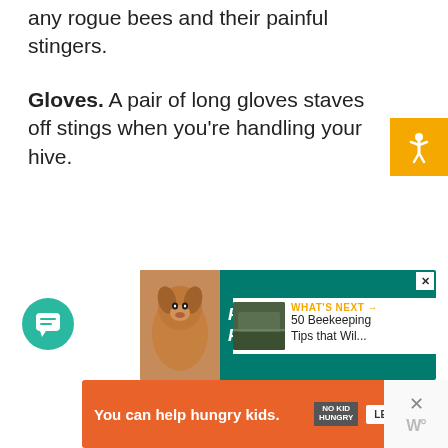any rogue bees and their painful stingers.
Gloves. A pair of long gloves staves off stings when you're handling your hive.
[Figure (other): Accessibility icon button (orange background with person icon)]
[Figure (other): Advertisement banner: FOSTER. ADOPT. RESCUE. ADVOCATE. with dog image on teal background]
[Figure (other): Heart/like button icon (orange circle)]
1
[Figure (other): Share button icon]
[Figure (other): Chat/comment button (teal circle with speech bubble)]
WHAT'S NEXT → 50 Beekeeping Tips that Wil...
[Figure (other): You can help hungry kids. NO KID HUNGRY LEARN HOW advertisement (orange background)]